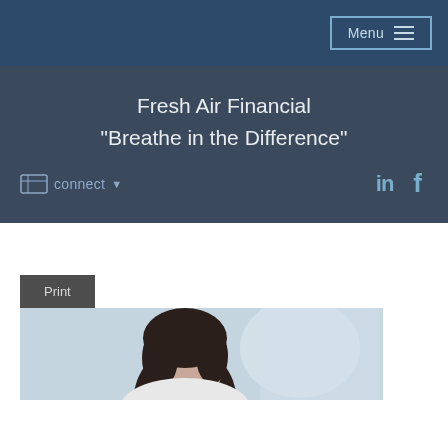Menu
Fresh Air Financial
"Breathe in the Difference"
connect
[Figure (screenshot): LinkedIn and Facebook social media icons in blue color]
Print
[Figure (photo): Photo of a woman with dark hair, partially visible from below, against a light blue/office background]